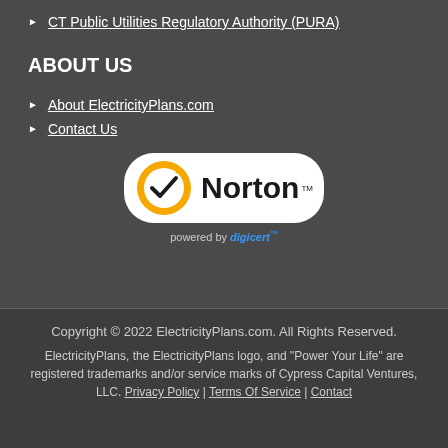CT Public Utilities Regulatory Authority (PURA)
ABOUT US
About ElectricityPlans.com
Contact Us
[Figure (logo): Norton secured badge powered by DigiCert]
Copyright © 2022 ElectricityPlans.com. All Rights Reserved. ElectricityPlans, the ElectricityPlans logo, and "Power Your Life" are registered trademarks and/or service marks of Cypress Capital Ventures, LLC. Privacy Policy | Terms Of Service | Contact